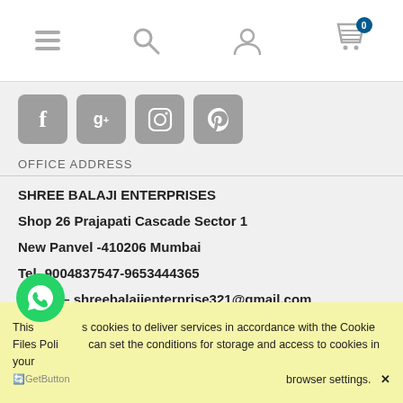[Figure (screenshot): Mobile website navigation bar with hamburger menu, search icon, user icon, and shopping cart icon with badge showing 0]
[Figure (screenshot): Social media icon buttons: Facebook (f), Google+ (g+), Instagram (camera), Pinterest (p)]
OFFICE ADDRESS
SHREE BALAJI ENTERPRISES
Shop 26 Prajapati Cascade Sector 1
New Panvel -410206 Mumbai
Tel- 9004837547-9653444365
E-mail – shreebalajienterprise321@gmail.com
This site uses cookies to deliver services in accordance with the Cookie Files Policy. You can set the conditions for storage and access to cookies in your browser settings.